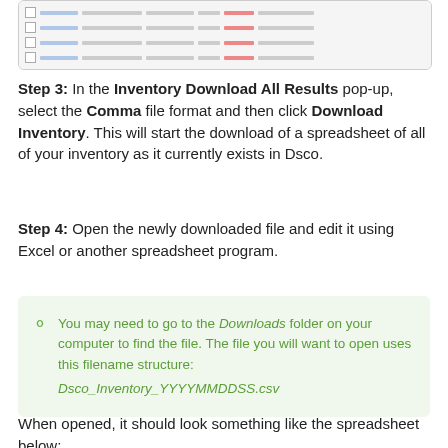[Figure (screenshot): A partial screenshot of a table/list interface showing inventory rows with checkboxes, blue link text, status indicators, and red icons in columns.]
Step 3: In the Inventory Download All Results pop-up, select the Comma file format and then click Download Inventory. This will start the download of a spreadsheet of all of your inventory as it currently exists in Dsco.
Step 4: Open the newly downloaded file and edit it using Excel or another spreadsheet program.
You may need to go to the Downloads folder on your computer to find the file. The file you will want to open uses this filename structure: Dsco_Inventory_YYYYMMDDSS.csv
When opened, it should look something like the spreadsheet below: